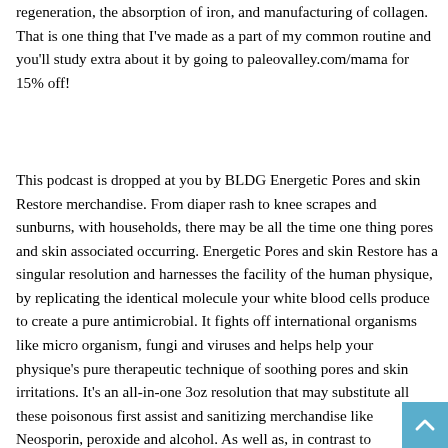regeneration, the absorption of iron, and manufacturing of collagen. That is one thing that I've made as a part of my common routine and you'll study extra about it by going to paleovalley.com/mama for 15% off!
This podcast is dropped at you by BLDG Energetic Pores and skin Restore merchandise. From diaper rash to knee scrapes and sunburns, with households, there may be all the time one thing pores and skin associated occurring. Energetic Pores and skin Restore has a singular resolution and harnesses the facility of the human physique, by replicating the identical molecule your white blood cells produce to create a pure antimicrobial. It fights off international organisms like micro organism, fungi and viruses and helps help your physique's pure therapeutic technique of soothing pores and skin irritations. It's an all-in-one 3oz resolution that may substitute all these poisonous first assist and sanitizing merchandise like Neosporin, peroxide and alcohol. As well as, in contrast to